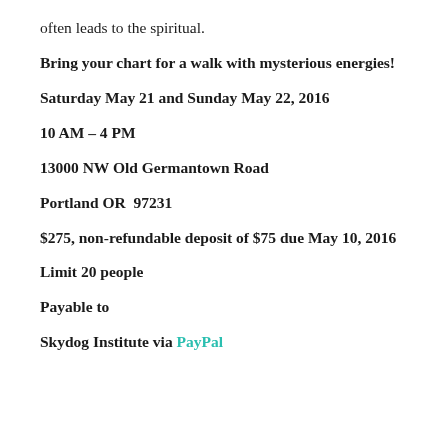often leads to the spiritual.
Bring your chart for a walk with mysterious energies!
Saturday May 21 and Sunday May 22, 2016
10 AM – 4 PM
13000 NW Old Germantown Road
Portland OR  97231
$275, non-refundable deposit of $75 due May 10, 2016
Limit 20 people
Payable to
Skydog Institute via PayPal